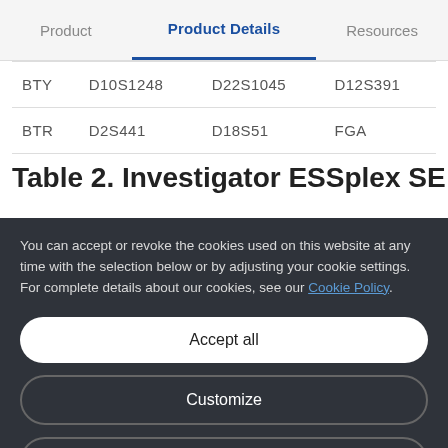Product | Product Details | Resources
| BTY | D10S1248 | D22S1045 | D12S391 |
| BTR | D2S441 | D18S51 | FGA |
Table 2. Investigator ESSplex SE QS Ki...
You can accept or revoke the cookies used on this website at any time with the selection below or by adjusting your cookie settings. For complete details about our cookies, see our Cookie Policy.
Accept all
Customize
Only necessary